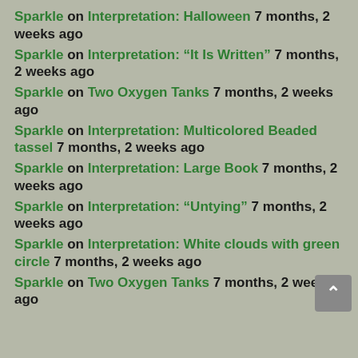Sparkle on Interpretation: Halloween 7 months, 2 weeks ago
Sparkle on Interpretation: "It Is Written" 7 months, 2 weeks ago
Sparkle on Two Oxygen Tanks 7 months, 2 weeks ago
Sparkle on Interpretation: Multicolored Beaded tassel 7 months, 2 weeks ago
Sparkle on Interpretation: Large Book 7 months, 2 weeks ago
Sparkle on Interpretation: "Untying" 7 months, 2 weeks ago
Sparkle on Interpretation: White clouds with green circle 7 months, 2 weeks ago
Sparkle on Two Oxygen Tanks 7 months, 2 weeks ago